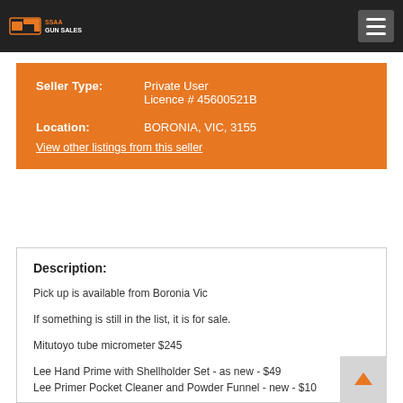SSAA GUN SALES
| Field | Value |
| --- | --- |
| Seller Type: | Private User
Licence # 45600521B |
| Location: | BORONIA, VIC, 3155 |
View other listings from this seller
Description:
Pick up is available from Boronia Vic
If something is still in the list, it is for sale.
Mitutoyo tube micrometer $245
Lee Hand Prime with Shellholder Set - as new - $49
Lee Primer Pocket Cleaner and Powder Funnel - new - $10